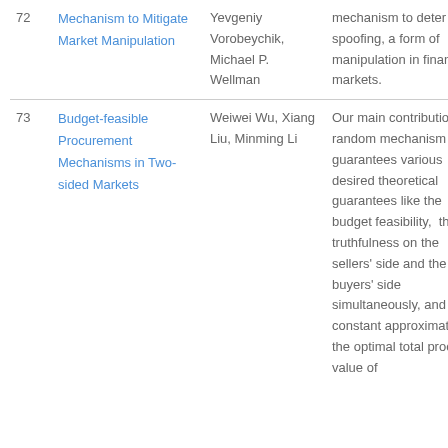| # | Title | Authors | Abstract |
| --- | --- | --- | --- |
| 72 | Mechanism to Mitigate Market Manipulation | Yevgeniy Vorobeychik, Michael P. Wellman | mechanism to deter spoofing, a form of manipulation in financial markets. |
| 73 | Budget-feasible Procurement Mechanisms in Two-sided Markets | Weiwei Wu, Xiang Liu, Minming Li | Our main contribution is a random mechanism that guarantees various desired theoretical guarantees like the budget feasibility, the truthfulness on the sellers' side and the buyers' side simultaneously, and constant approximation to the optimal total procured value of |